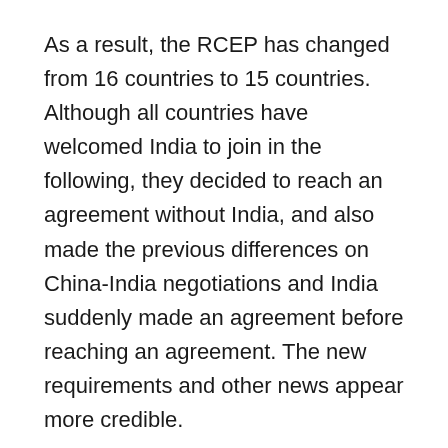As a result, the RCEP has changed from 16 countries to 15 countries. Although all countries have welcomed India to join in the following, they decided to reach an agreement without India, and also made the previous differences on China-India negotiations and India suddenly made an agreement before reaching an agreement. The new requirements and other news appear more credible.
It is reported that in late September, the Indian side has basically reached a preliminary plan for RCEP tariff reduction with Beijing. However, some Indian officials pointed out that the country's Minister of